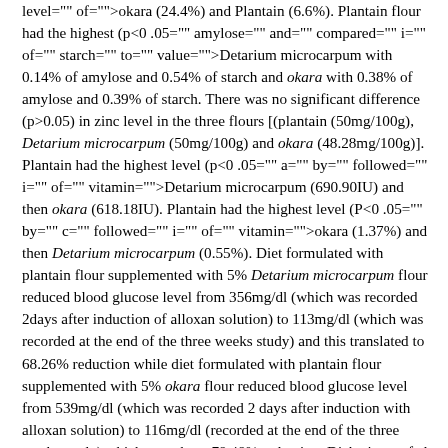level="" of="">okara (24.4%) and Plantain (6.6%). Plantain flour had the highest (p<0 .05="" amylose="" and="" compared="" i="" of="" starch="" to="" value="">Detarium microcarpum with 0.14% of amylose and 0.54% of starch and okara with 0.38% of amylose and 0.39% of starch. There was no significant difference (p>0.05) in zinc level in the three flours [(plantain (50mg/100g), Detarium microcarpum (50mg/100g) and okara (48.28mg/100g)]. Plantain had the highest level (p<0 .05="" a="" by="" followed="" i="" of="" vitamin="">Detarium microcarpum (690.90IU) and then okara (618.18IU). Plantain had the highest level (P<0 .05="" by="" c="" followed="" i="" of="" vitamin="">okara (1.37%) and then Detarium microcarpum (0.55%). Diet formulated with plantain flour supplemented with 5% Detarium microcarpum flour reduced blood glucose level from 356mg/dl (which was recorded 2days after induction of alloxan solution) to 113mg/dl (which was recorded at the end of the three weeks study) and this translated to 68.26% reduction while diet formulated with plantain flour supplemented with 5% okara flour reduced blood glucose level from 539mg/dl (which was recorded 2 days after induction with alloxan solution) to 116mg/dl (recorded at the end of the three weeks study) which was about 78.48% reduction. Diabetic rats fed